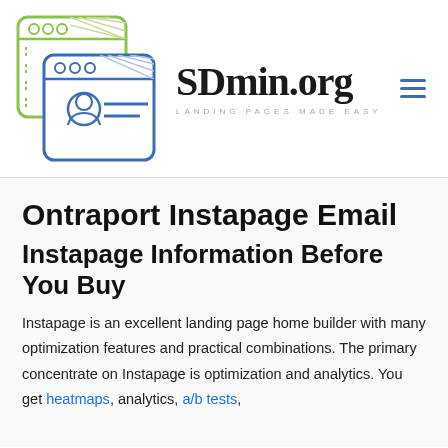[Figure (logo): SDmin.org logo with two overlapping browser window outlines, one yellow-green and one blue, with a user profile icon and lines inside the blue one]
SDmin.org
LANDING PAGES MADE EASY
Ontraport Instapage Email
Instapage Information Before You Buy
Instapage is an excellent landing page home builder with many optimization features and practical combinations. The primary concentrate on Instapage is optimization and analytics. You get heatmaps, analytics, a/b tests,